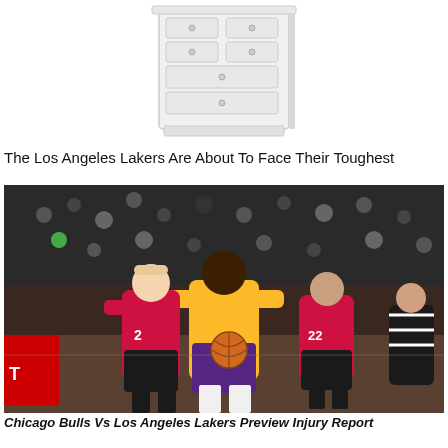[Figure (illustration): A white dresser/chest of drawers illustration with multiple drawers and small circular knobs, on a white background]
The Los Angeles Lakers Are About To Face Their Toughest
[Figure (photo): NBA basketball game photo showing Chicago Bulls player in red jersey defending against a Los Angeles Lakers player in yellow jersey holding a basketball, with crowd and another Bulls player #22 visible in the background]
Chicago Bulls Vs Los Angeles Lakers Preview Injury Report